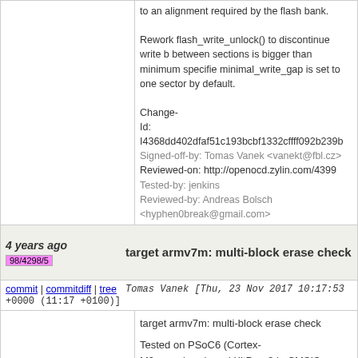to an alignment required by the flash bank.

Rework flash_write_unlock() to discontinue write b between sections is bigger than minimum specifie minimal_write_gap is set to one sector by default.

Change-Id: I4368dd402dfaf51c193bcbf1332cffff092b239b
Signed-off-by: Tomas Vanek <vanekt@fbl.cz>
Reviewed-on: http://openocd.zylin.com/4399
Tested-by: jenkins
Reviewed-by: Andreas Bolsch <hyphen0break@gmail.com>
4 years ago
98/4298/5
target armv7m: multi-block erase check
commit | commitdiff | tree
Tomas Vanek [Thu, 23 Nov 2017 10:17:53 +0000 (11:17 +0100)]
target armv7m: multi-block erase check

Tested on PSoC6 (Cortex-M0+ core), onboard KitProg2 in CMSIS-DAP mode,
adapter_khz=1000.
Plain read:
flash read_bank 0 /dev/null
takes 48 seconds.

erase_check without this change: